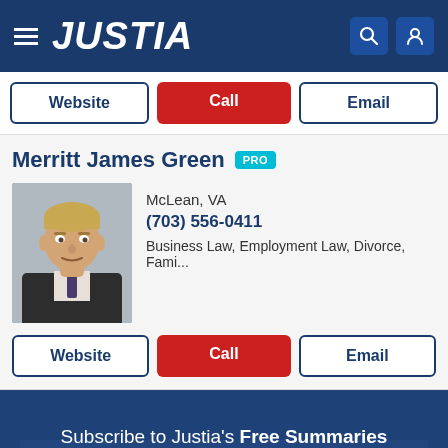JUSTIA
Website | Call | Email
Merritt James Green PRO
McLean, VA
(703) 556-0411
Business Law, Employment Law, Divorce, Fami...
[Figure (photo): Headshot photo of Merritt James Green, a middle-aged man with blonde hair wearing a dark suit and tie]
Website | Call | Email
Subscribe to Justia's Free Summaries of Supreme Court of Virginia opinions.